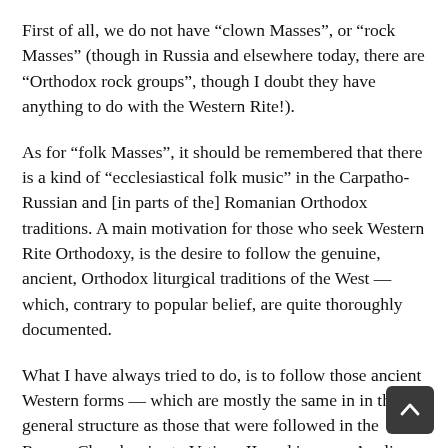First of all, we do not have “clown Masses”, or “rock Masses” (though in Russia and elsewhere today, there are “Orthodox rock groups”, though I doubt they have anything to do with the Western Rite!).
As for “folk Masses”, it should be remembered that there is a kind of “ecclesiastical folk music” in the Carpatho-Russian and [in parts of the] Romanian Orthodox traditions. A main motivation for those who seek Western Rite Orthodoxy, is the desire to follow the genuine, ancient, Orthodox liturgical traditions of the West — which, contrary to popular belief, are quite thoroughly documented.
What I have always tried to do, is to follow those ancient Western forms — which are mostly the same in in their general structure as those that were followed in the Roman Church prior to Vatican II, and in some Anglican communities (such as the convent in Wantage) till within recent memory.